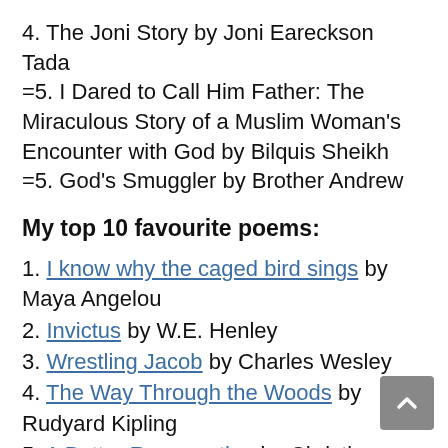4. The Joni Story by Joni Eareckson Tada
=5. I Dared to Call Him Father: The Miraculous Story of a Muslim Woman's Encounter with God by Bilquis Sheikh
=5. God's Smuggler by Brother Andrew
My top 10 favourite poems:
1. I know why the caged bird sings by Maya Angelou
2. Invictus by W.E. Henley
3. Wrestling Jacob by Charles Wesley
4. The Way Through the Woods by Rudyard Kipling
5. A Better Resurrection by Christina Rossetti
6. De Profundis by Christina Rossetti
7. When, in disgrace with fortune and men's eyes by William Shakespeare